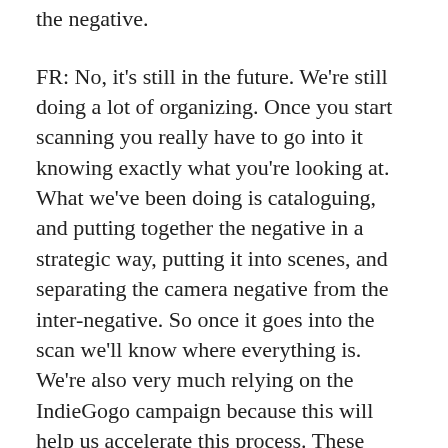the negative.
FR: No, it's still in the future. We're still doing a lot of organizing. Once you start scanning you really have to go into it knowing exactly what you're looking at. What we've been doing is cataloguing, and putting together the negative in a strategic way, putting it into scenes, and separating the camera negative from the inter-negative. So once it goes into the scan we'll know where everything is. We're also very much relying on the IndieGogo campaign because this will help us accelerate this process. These funds are important for us to finish the film in a manner we think is fitting of such a great piece of art.